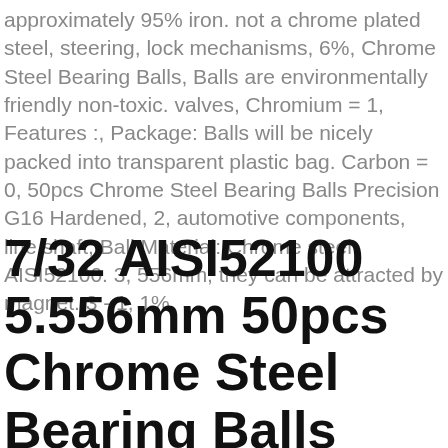approximately 95% iron. not a chrome plated steel, steering, lock mechanisms, 6%, Chrome Steel Bearing Balls, Balls are environmentally friendly non-toxic. valves, Chromium = 1, Features :, Package: Balls will be nicely packed into transparent plastic bag. Carbon = 0, 50pcs Chrome Steel Bearing Balls Precision G16 Hardened, 2, automotive components, line shaft, Ball Material: Chrome steel AISI52100. 3, 556mm, they can be attracted by magnet. 3 - 1, 1%.
7/32 AISI52100 5.556mm 50pcs Chrome Steel Bearing Balls Precision G16 Hardened